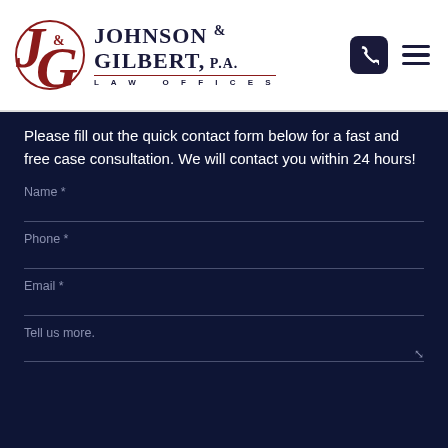[Figure (logo): Johnson & Gilbert, P.A. Law Offices logo with red J&G monogram and dark navy text]
Please fill out the quick contact form below for a fast and free case consultation. We will contact you within 24 hours!
Name *
Phone *
Email *
Tell us more.